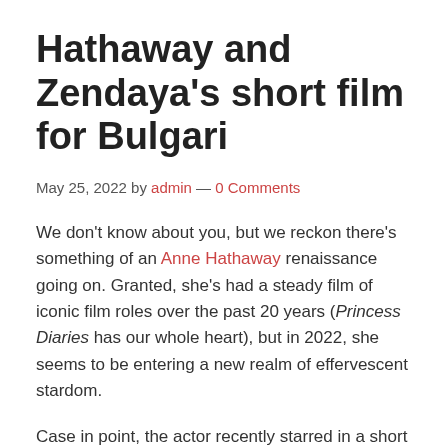Hathaway and Zendaya's short film for Bulgari
May 25, 2022 by admin — 0 Comments
We don't know about you, but we reckon there's something of an Anne Hathaway renaissance going on. Granted, she's had a steady film of iconic film roles over the past 20 years (Princess Diaries has our whole heart), but in 2022, she seems to be entering a new realm of effervescent stardom.
Case in point, the actor recently starred in a short